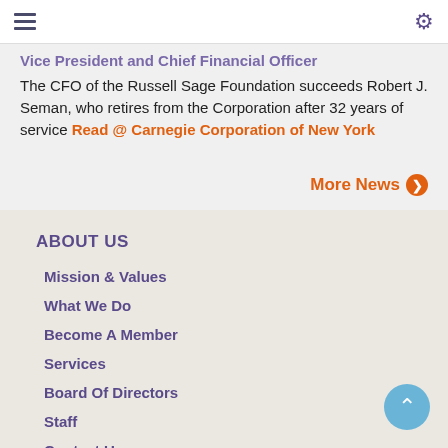Vice President and Chief Financial Officer
The CFO of the Russell Sage Foundation succeeds Robert J. Seman, who retires from the Corporation after 32 years of service Read @ Carnegie Corporation of New York
More News
ABOUT US
Mission & Values
What We Do
Become A Member
Services
Board Of Directors
Staff
Contact Us
Vision For 2025